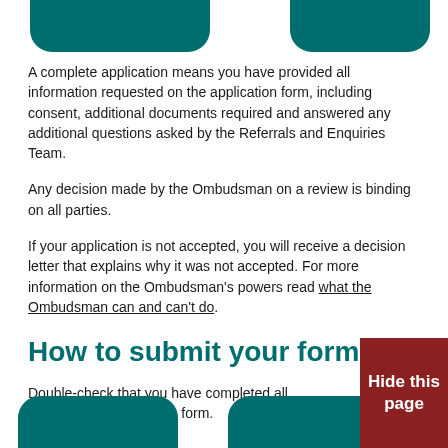A complete application means you have provided all information requested on the application form, including consent, additional documents required and answered any additional questions asked by the Referrals and Enquiries Team.
Any decision made by the Ombudsman on a review is binding on all parties.
If your application is not accepted, you will receive a decision letter that explains why it was not accepted. For more information on the Ombudsman’s powers read what the Ombudsman can and can’t do.
How to submit your form
Double-check that you have completed all sections, signed a... the form.